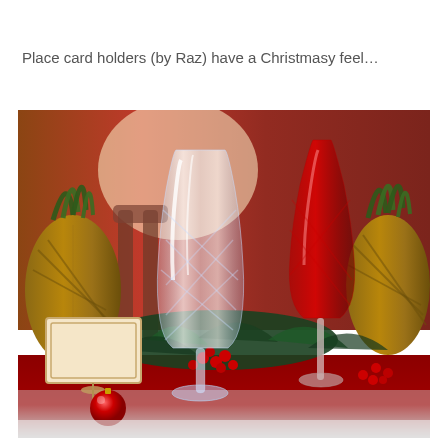Place card holders (by Raz) have a Christmasy feel…
[Figure (photo): A Christmas table setting featuring a clear crystal cut-glass goblet in the center, a red crystal wine glass to the right, a place card holder with a blank card on the left, a small red Christmas ornament ball, pineapples in the background, red berries, and green leaves, all arranged on a red table surface with a festive holiday atmosphere.]